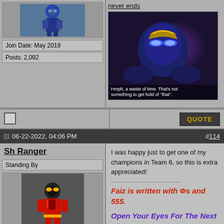[Figure (photo): Avatar image of a Kamen Rider figure in blue suit]
Join Date: May 2019
Posts: 2,092
never ends
[Figure (screenshot): Screenshot of Kamen Rider with subtitle: Hmph, a waste of time. That's not something to get hold of 'that'.]
[Figure (other): Checkbox]
QUOTE
06-22-2022, 04:06 PM   #114
Sh Ranger
Standing By
[Figure (photo): Avatar image of Kamen Rider Faiz figure in red and black suit]
Join Date: Feb 2020
Location: USA
I was happy just to get one of my champions in Team 6, so this is extra appreciated!
Faiz is written with Φs and 555.
Open Your Eyes For The Next NinPOW!